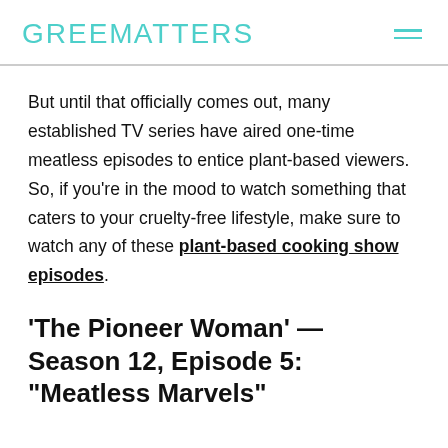GREENMATTERS
But until that officially comes out, many established TV series have aired one-time meatless episodes to entice plant-based viewers. So, if you're in the mood to watch something that caters to your cruelty-free lifestyle, make sure to watch any of these plant-based cooking show episodes.
'The Pioneer Woman' — Season 12, Episode 5: "Meatless Marvels"